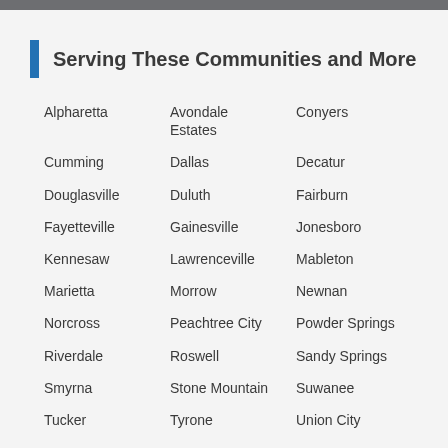Serving These Communities and More
Alpharetta
Avondale Estates
Conyers
Cumming
Dallas
Decatur
Douglasville
Duluth
Fairburn
Fayetteville
Gainesville
Jonesboro
Kennesaw
Lawrenceville
Mableton
Marietta
Morrow
Newnan
Norcross
Peachtree City
Powder Springs
Riverdale
Roswell
Sandy Springs
Smyrna
Stone Mountain
Suwanee
Tucker
Tyrone
Union City